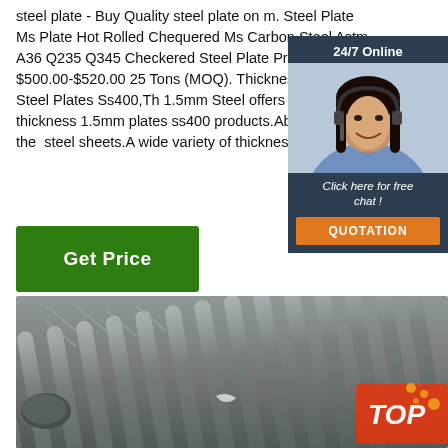steel plate - Buy Quality steel plate on m. Steel Plate Ms Plate Hot Rolled Chequered Ms Carbon Steel Astm A36 Q235 Q345 Checkered Steel Plate Price $500.00-$520.00 25 Tons (MOQ). Thickness 1.5mm Steel Plates Ss400,Th 1.5mm Steel offers 520 thickness 1.5mm plates ss400 products.About 81% of the steel sheets.A wide variety of thickness :
[Figure (photo): Chat widget with woman wearing headset, dark blue background, '24/7 Online' header, 'Click here for free chat!' text, orange QUOTATION button]
[Figure (illustration): Green 'Get Price' button]
[Figure (photo): Bundle of steel rebar/reinforcement bars photographed close-up, gray metallic color, with orange TOP badge in corner]